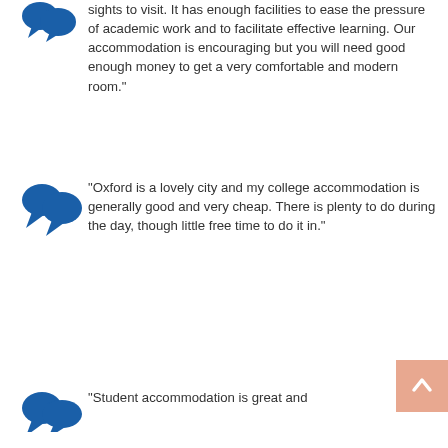sights to visit. It has enough facilities to ease the pressure of academic work and to facilitate effective learning. Our accommodation is encouraging but you will need good enough money to get a very comfortable and modern room."
"Oxford is a lovely city and my college accommodation is generally good and very cheap. There is plenty to do during the day, though little free time to do it in."
"Student accommodation is great and